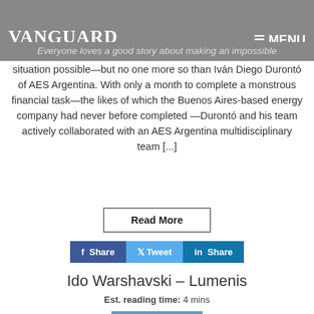VANGUARD   ≡ MENU
Everyone loves a good story about making an impossible situation possible—but no one more so than Iván Diego Durontó of AES Argentina. With only a month to complete a monstrous financial task—the likes of which the Buenos Aires-based energy company had never before completed—Durontó and his team actively collaborated with an AES Argentina multidisciplinary team [...]
Read More
f Share   Tweet   in Share
Ido Warshavski – Lumenis
Est. reading time: 4 mins
[Figure (logo): Vanguard magazine logo on blue background with person photo below]